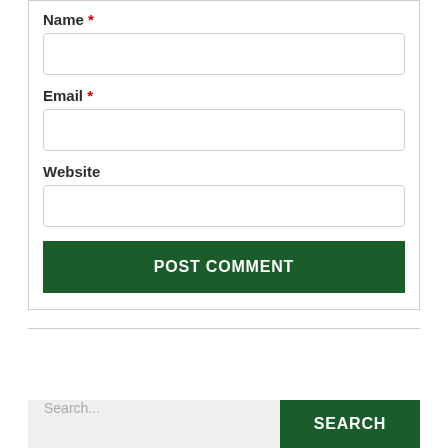Name *
[Figure (other): Text input field for Name]
Email *
[Figure (other): Text input field for Email]
Website
[Figure (other): Text input field for Website]
POST COMMENT
Search...
SEARCH